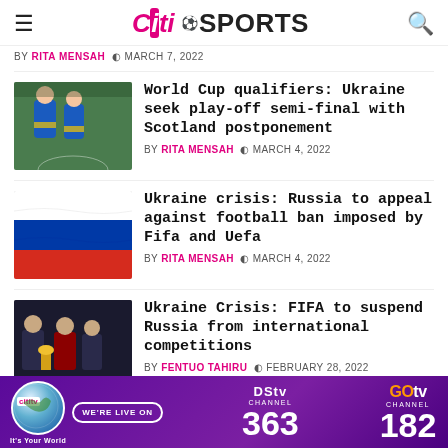Citi Sports
BY RITA MENSAH  MARCH 7, 2022
[Figure (photo): Two Ukrainian football players in blue uniforms on pitch]
World Cup qualifiers: Ukraine seek play-off semi-final with Scotland postponement
BY RITA MENSAH  MARCH 4, 2022
[Figure (photo): Russian flag being held up, white-blue-red tricolor]
Ukraine crisis: Russia to appeal against football ban imposed by Fifa and Uefa
BY RITA MENSAH  MARCH 4, 2022
[Figure (photo): Officials at a ceremony with FIFA World Cup trophy, Putin in red tie]
Ukraine Crisis: FIFA to suspend Russia from international competitions
BY FENTUO TAHIRU  FEBRUARY 28, 2022
[Figure (illustration): DStv Channel 363 and GOtv Channel 182 advertisement banner with purple background]